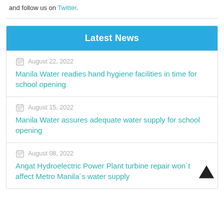and follow us on Twitter.
Latest News
August 22, 2022 — Manila Water readies hand hygiene facilities in time for school opening
August 15, 2022 — Manila Water assures adequate water supply for school opening
August 08, 2022 — Angat Hydroelectric Power Plant turbine repair won't affect Metro Manila's water supply